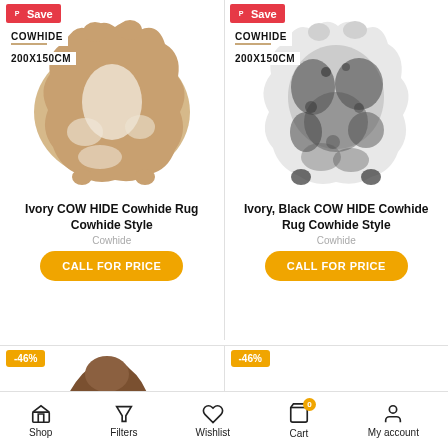[Figure (photo): Ivory/tan and white cowhide rug with COWHIDE and 200X150CM labels, Pinterest Save badge]
[Figure (photo): Ivory and black cowhide rug with COWHIDE and 200X150CM labels, Pinterest Save badge]
Ivory COW HIDE Cowhide Rug Cowhide Style
Cowhide
CALL FOR PRICE
Ivory, Black COW HIDE Cowhide Rug Cowhide Style
Cowhide
CALL FOR PRICE
[Figure (photo): Partial brown cowhide rug with -46% sale badge]
-46%
-46%
Shop  Filters  Wishlist  Cart  My account